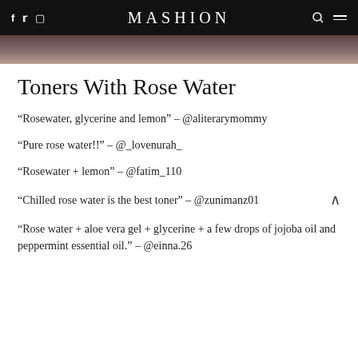MASHION
[Figure (photo): Cropped photo of a person, dark tones, partial view of a face/torso]
Toners With Rose Water
“Rosewater, glycerine and lemon” – @aliterarymommy
“Pure rose water!!” – @_lovenurah_
“Rosewater + lemon” – @fatim_110
“Chilled rose water is the best toner” – @zunimanz01
“Rose water + aloe vera gel + glycerine + a few drops of jojoba oil and peppermint essential oil.” – @einna.26